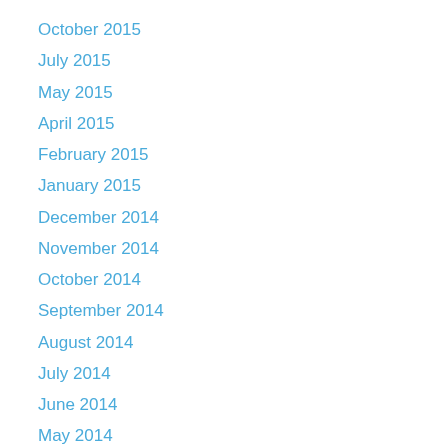October 2015
July 2015
May 2015
April 2015
February 2015
January 2015
December 2014
November 2014
October 2014
September 2014
August 2014
July 2014
June 2014
May 2014
March 2014
February 2014
January 2014
December 2013
November 2013
October 2013